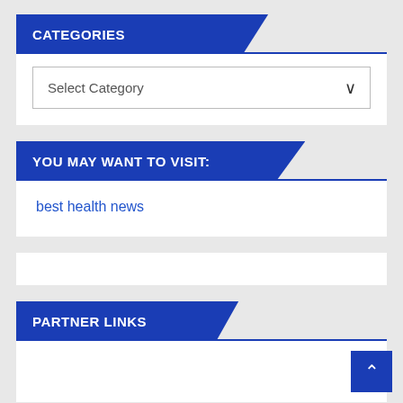CATEGORIES
Select Category
YOU MAY WANT TO VISIT:
best health news
PARTNER LINKS